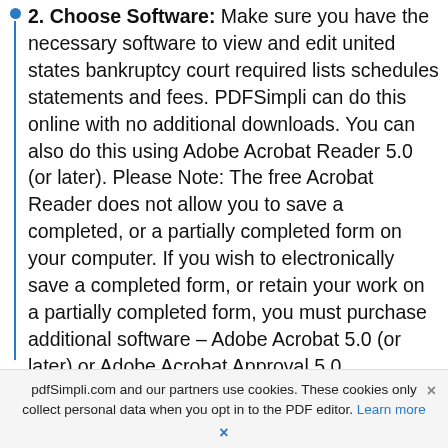2. Choose Software: Make sure you have the necessary software to view and edit united states bankruptcy court required lists schedules statements and fees. PDFSimpli can do this online with no additional downloads. You can also do this using Adobe Acrobat Reader 5.0 (or later). Please Note: The free Acrobat Reader does not allow you to save a completed, or a partially completed form on your computer. If you wish to electronically save a completed form, or retain your work on a partially completed form, you must purchase additional software – Adobe Acrobat 5.0 (or later) or Adobe Acrobat Approval 5.0. PDFSimpli will allow you to fill out this form and save it for FREE during our trial period. Pretty amazing. Just click on any of the “Get
pdfSimpli.com and our partners use cookies. These cookies only collect personal data when you opt in to the PDF editor. Learn more